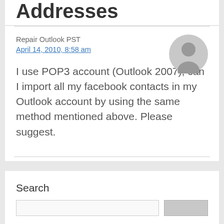Addresses
Repair Outlook PST
April 14, 2010, 8:58 am
I use POP3 account (Outlook 2007), can I import all my facebook contacts in my Outlook account by using the same method mentioned above. Please suggest.
Search